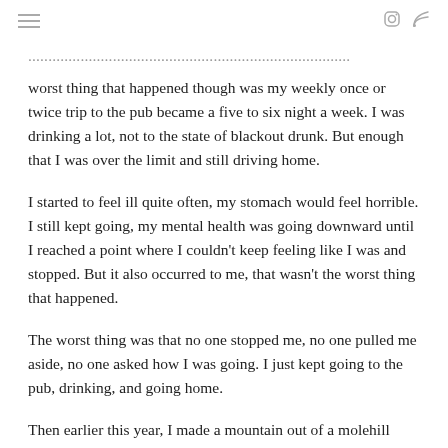≡  [instagram icon] [rss icon]
worst thing that happened though was my weekly once or twice trip to the pub became a five to six night a week. I was drinking a lot, not to the state of blackout drunk. But enough that I was over the limit and still driving home.
I started to feel ill quite often, my stomach would feel horrible. I still kept going, my mental health was going downward until I reached a point where I couldn't keep feeling like I was and stopped. But it also occurred to me, that wasn't the worst thing that happened.
The worst thing was that no one stopped me, no one pulled me aside, no one asked how I was going. I just kept going to the pub, drinking, and going home.
Then earlier this year, I made a mountain out of a molehill with something that shouldn't have concerned me in the first place.